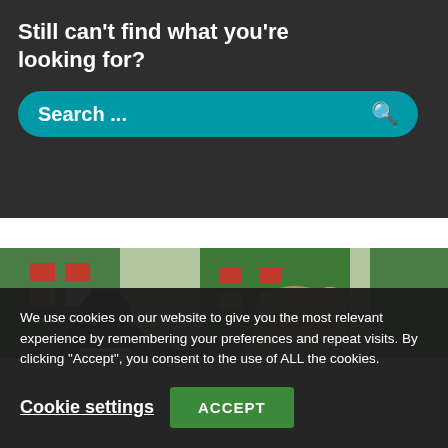Still can't find what you're looking for?
[Figure (screenshot): Teal/cyan rounded search bar with text 'Search ...' and a magnifying glass icon on a dark background]
[Figure (photo): Classroom photo showing children from behind with colorful educational displays on the wall including green and red cards]
We use cookies on our website to give you the most relevant experience by remembering your preferences and repeat visits. By clicking “Accept”, you consent to the use of ALL the cookies.
Cookie settings
ACCEPT